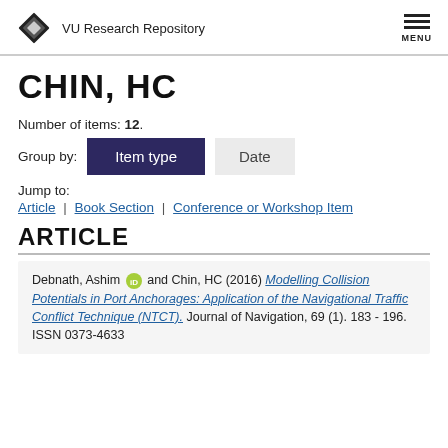VU Research Repository
CHIN, HC
Number of items: 12.
Group by: Item type | Date
Jump to:
Article | Book Section | Conference or Workshop Item
ARTICLE
Debnath, Ashim and Chin, HC (2016) Modelling Collision Potentials in Port Anchorages: Application of the Navigational Traffic Conflict Technique (NTCT). Journal of Navigation, 69 (1). 183 - 196. ISSN 0373-4633